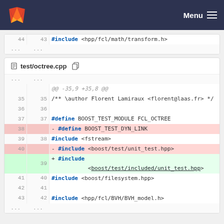GitLab — Menu
#include <hpp/fcl/math/transform.h>  (line 44/43)
test/octree.cpp
| old | new | code |
| --- | --- | --- |
| ... | ... | @@ -35,9 +35,8 @@ |
| 35 | 35 | /** \author Florent Lamiraux <florent@laas.fr> */ |
| 36 | 36 |  |
| 37 | 37 | #define BOOST_TEST_MODULE FCL_OCTREE |
| 38 |  | - #define BOOST_TEST_DYN_LINK |
| 39 | 38 | #include <fstream> |
| 40 |  | - #include <boost/test/unit_test.hpp> |
|  | 39 | + #include <boost/test/included/unit_test.hpp> |
| 41 | 40 | #include <boost/filesystem.hpp> |
| 42 | 41 |  |
| 43 | 42 | #include <hpp/fcl/BVH/BVH_model.h> |
| ... | ... |  |